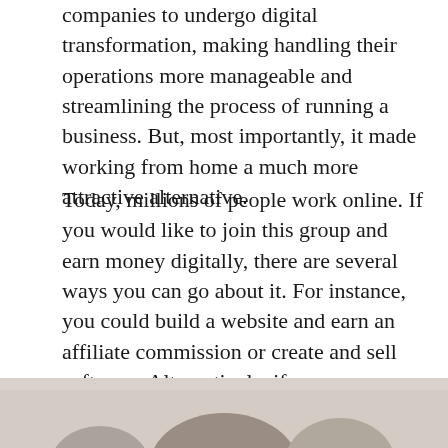companies to undergo digital transformation, making handling their operations more manageable and streamlining the process of running a business. But, most importantly, it made working from home a much more attractive alternative.
Today, millions of people work online. If you would like to join this group and earn money digitally, there are several ways you can go about it. For instance, you could build a website and earn an affiliate commission or create and sell software. Alternatively, if you are more of a risk-taker, you could invest in cryptocurrencies or launch a startup. Creating an online course or freelancing are excellent options as well.
[Figure (photo): Partial photo showing the top portion of a person's head, cropped at the bottom of the page.]